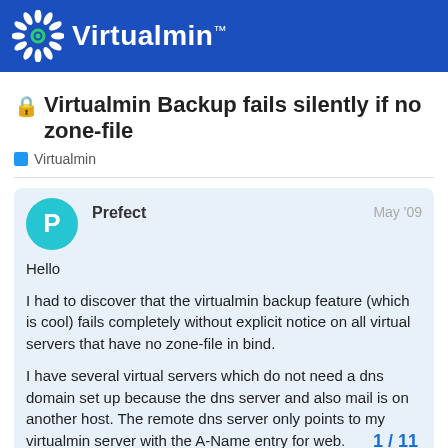Virtualmin
🔒 Virtualmin Backup fails silently if no zone-file
Virtualmin
Prefect
May '09

Hello

I had to discover that the virtualmin backup feature (which is cool) fails completely without explicit notice on all virtual servers that have no zone-file in bind.

I have several virtual servers which do not need a dns domain set up because the dns server and also mail is on another host. The remote dns server only points to my virtualmin server with the A-Name entry for web.
1 / 11